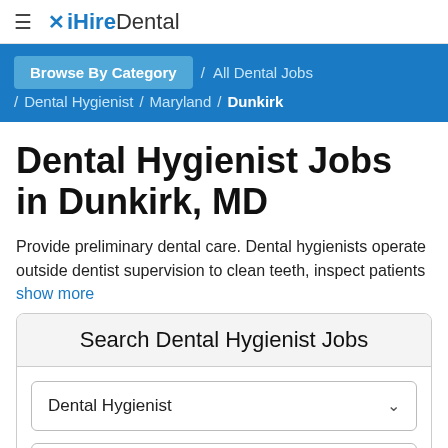≡ iHireDental
Browse By Category / All Dental Jobs / Dental Hygienist / Maryland / Dunkirk
Dental Hygienist Jobs in Dunkirk, MD
Provide preliminary dental care. Dental hygienists operate outside dentist supervision to clean teeth, inspect patients
show more
Search Dental Hygienist Jobs
Dental Hygienist
Dunkirk, MD